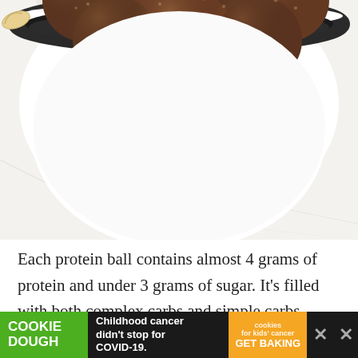[Figure (photo): Overhead photo of chocolate protein balls in a white bowl with black rim, on a white marble surface. The balls are dark brown, textured, and clustered together in the bowl.]
Each protein ball contains almost 4 grams of protein and under 3 grams of sugar. It's filled with both complex carbs and simple carbs, which is ideal for energy and sustained energy an
[Figure (other): Advertisement banner: Cookie Dough brand ad with text 'Childhood cancer didn't stop for COVID-19.' and Cookies for Kids Cancer badge with 'GET BAKING' call to action.]